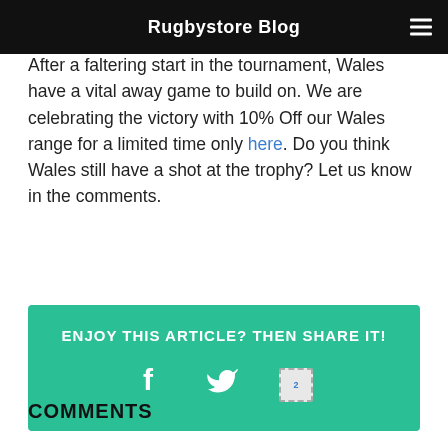Rugbystore Blog
After a faltering start in the tournament, Wales have a vital away game to build on. We are celebrating the victory with 10% Off our Wales range for a limited time only here. Do you think Wales still have a shot at the trophy? Let us know in the comments.
ENJOY THIS ARTICLE? THEN SHARE IT!
[Figure (infographic): Share buttons for Facebook, Twitter, and Google Plus on a teal/green background]
COMMENTS